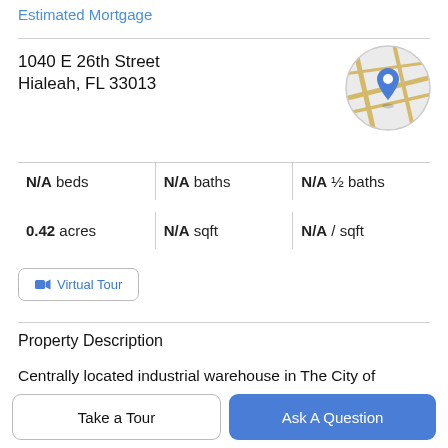Estimated Mortgage
1040 E 26th Street
Hialeah, FL 33013
[Figure (map): Circular map thumbnail showing street map with a blue location pin marker]
N/A beds | N/A baths | N/A ½ baths
0.42 acres | N/A sqft | N/A / sqft
Virtual Tour
Property Description
Centrally located industrial warehouse in The City of Hialeah located near Tri Rail Station owner occupied
Take a Tour
Ask A Question